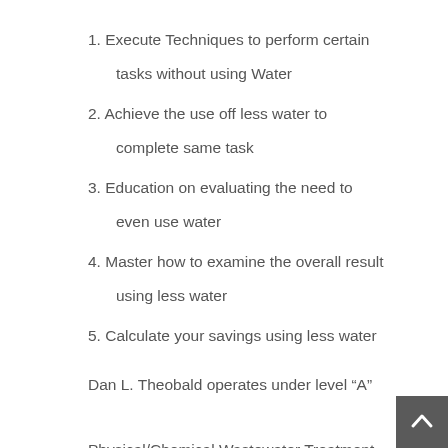1. Execute Techniques to perform certain tasks without using Water
2. Achieve the use off less water to complete same task
3. Education on evaluating the need to even use water
4. Master how to examine the overall result using less water
5. Calculate your savings using less water
Dan L. Theobald operates under level “A” Physical/Chemical Wastewater Treatment